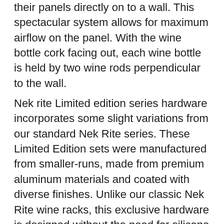their panels directly on to a wall. This spectacular system allows for maximum airflow on the panel. With the wine bottle cork facing out, each wine bottle is held by two wine rods perpendicular to the wall.
Nek rite Limited edition series hardware incorporates some slight variations from our standard Nek Rite series. These Limited Edition sets were manufactured from smaller-runs, made from premium aluminum materials and coated with diverse finishes. Unlike our classic Nek Rite wine racks, this exclusive hardware is designed without the need for silicone o-rings. The Nek Rite Limited Edition series provides an alternative option to our standard wall mounted wine racks.